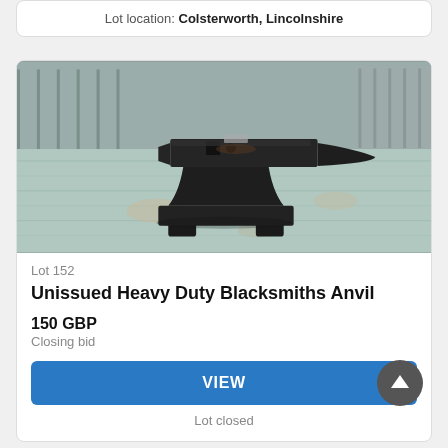Lot location: Colsterworth, Lincolnshire
[Figure (photo): Photograph of a large black cast iron blacksmiths anvil sitting on a table covered with a pale blue-green cloth, photographed in what appears to be a farm or barn setting.]
Lot 152
Unissued Heavy Duty Blacksmiths Anvil
150 GBP
Closing bid
VIEW
Lot closed